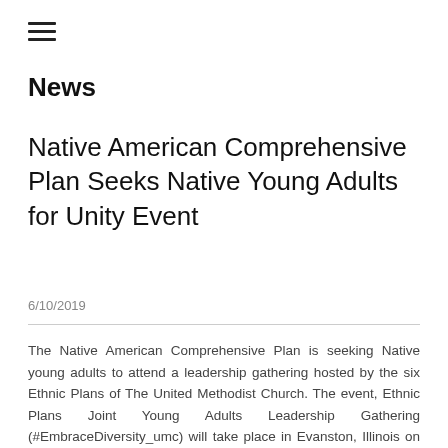[Figure (other): Hamburger menu icon (three horizontal lines)]
News
Native American Comprehensive Plan Seeks Native Young Adults for Unity Event
6/10/2019
The Native American Comprehensive Plan is seeking Native young adults to attend a leadership gathering hosted by the six Ethnic Plans of The United Methodist Church. The event, Ethnic Plans Joint Young Adults Leadership Gathering (#EmbraceDiversity_umc) will take place in Evanston, Illinois on Aug. 21-24.